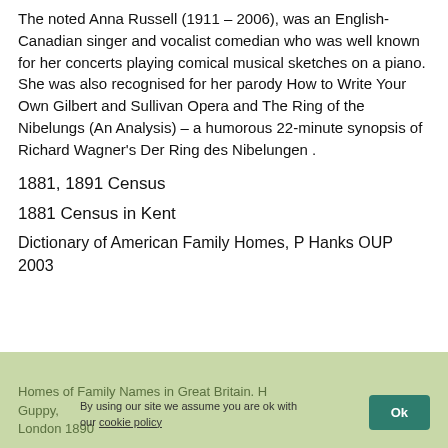The noted Anna Russell (1911 – 2006), was an English-Canadian singer and vocalist comedian who was well known for her concerts playing comical musical sketches on a piano. She was also recognised for her parody How to Write Your Own Gilbert and Sullivan Opera and The Ring of the Nibelungs (An Analysis) – a humorous 22-minute synopsis of Richard Wagner's Der Ring des Nibelungen .
1881, 1891 Census
1881 Census in Kent
Dictionary of American Family Homes, P Hanks OUP 2003
Homes of Family Names in Great Britain. H Guppy, London 1890
By using our site we assume you are ok with our cookie policy